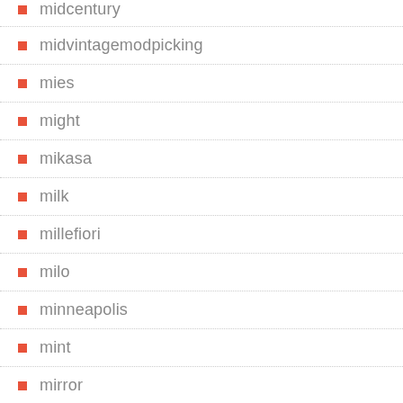midcentury
midvintagemodpicking
mies
might
mikasa
milk
millefiori
milo
minneapolis
mint
mirror